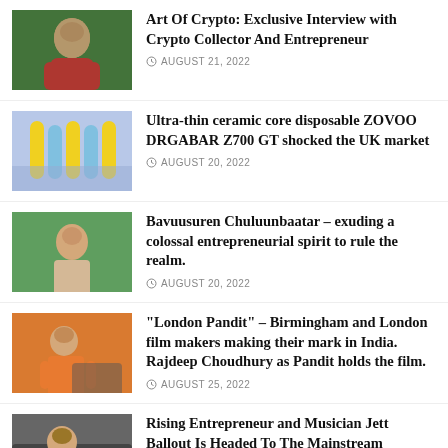[Figure (photo): Person in red hoodie outdoors with green foliage background]
Art Of Crypto: Exclusive Interview with Crypto Collector And Entrepreneur
AUGUST 21, 2022
[Figure (photo): Product image of thin cylindrical vape/disposable products against blue/purple background]
Ultra-thin ceramic core disposable ZOVOO DRGABAR Z700 GT shocked the UK market
AUGUST 20, 2022
[Figure (photo): Person standing in front of green banner/backdrop]
Bavuusuren Chuluunbaatar – exuding a colossal entrepreneurial spirit to rule the realm.
AUGUST 20, 2022
[Figure (photo): Person in orange outfit on a bike/scooter outdoors]
“London Pandit” – Birmingham and London film makers making their mark in India. Rajdeep Choudhury as Pandit holds the film.
AUGUST 25, 2022
[Figure (photo): Person wearing hat inside a car]
Rising Entrepreneur and Musician Jett Ballout Is Headed To The Mainstream